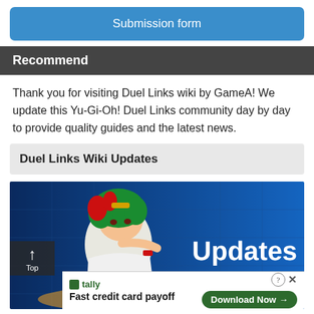[Figure (screenshot): Blue rounded button labeled 'Submission form']
Recommend
Thank you for visiting Duel Links wiki by GameA! We update this Yu-Gi-Oh! Duel Links community day by day to provide quality guides and the latest news.
Duel Links Wiki Updates
[Figure (illustration): Yu-Gi-Oh Duel Links promotional banner showing an anime character with green hair in action pose on a blue background with the word 'Updates' in white text. A 'Top' scroll button appears at bottom-left. An advertisement banner for 'Tally - Fast credit card payoff' with a 'Download Now' button is overlaid at the bottom.]